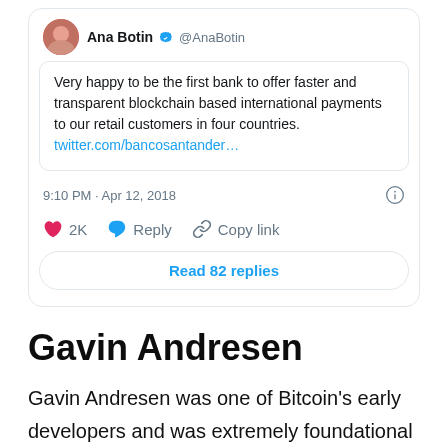[Figure (screenshot): Twitter/X screenshot of a tweet by Ana Botin (@AnaBotin) saying 'Very happy to be the first bank to offer faster and transparent blockchain based international payments to our retail customers in four countries. twitter.com/bancosantander…' posted at 9:10 PM · Apr 12, 2018, with 2K likes, Reply and Copy link actions, and a 'Read 82 replies' button.]
Gavin Andresen
Gavin Andresen was one of Bitcoin's early developers and was extremely foundational in its early days of development. Now, Andresen continues to remain highly influential in the digital